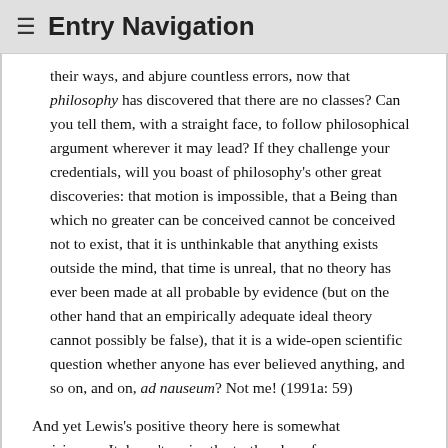≡ Entry Navigation
their ways, and abjure countless errors, now that philosophy has discovered that there are no classes? Can you tell them, with a straight face, to follow philosophical argument wherever it may lead? If they challenge your credentials, will you boast of philosophy's other great discoveries: that motion is impossible, that a Being than which no greater can be conceived cannot be conceived not to exist, that it is unthinkable that anything exists outside the mind, that time is unreal, that no theory has ever been made at all probable by evidence (but on the other hand that an empirically adequate ideal theory cannot possibly be false), that it is a wide-open scientific question whether anyone has ever believed anything, and so on, and on, ad nauseum? Not me! (1991a: 59)
And yet Lewis's positive theory here is somewhat revisionary. It doesn't revise the truth value of any mathematical claim, but it does revise the understanding of them. Is even this too much revision to make on